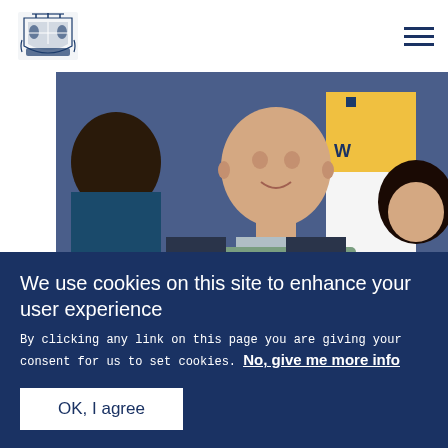The Royal Family website header with crest logo and hamburger menu
[Figure (photo): Photo of the Duke and Duchess (Prince William and Kate Middleton) smiling and talking with someone at a table, with a yellow and white branded banner visible in the background. Blue background. Overlaid with text: FEATURE and 'The Duke and Duchess']
The Duke and Duchess
We use cookies on this site to enhance your user experience
By clicking any link on this page you are giving your consent for us to set cookies. No, give me more info
OK, I agree